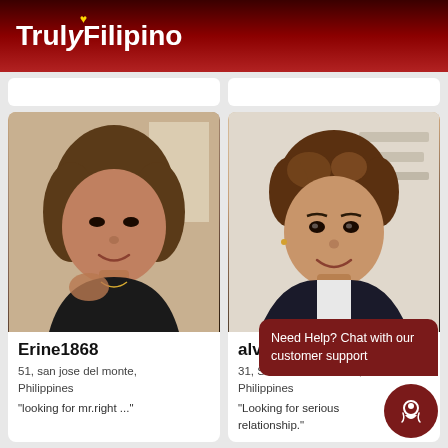[Figure (logo): TrulyFilipino logo with heart icon on dark red gradient header background]
[Figure (photo): Profile photo of Erine1868, a woman in a black top]
Erine1868
51, san jose del monte, Philippines
"looking for mr.right ..."
[Figure (photo): Profile photo of alvin, a young man smiling]
alvin
31, San Jose del Monte, Philippines
"Looking for serious relationship."
Need Help? Chat with our customer support